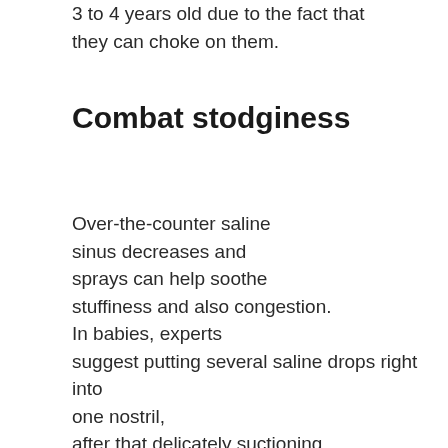3 to 4 years old due to the fact that they can choke on them.
Combat stodginess
Over-the-counter saline sinus decreases and sprays can help soothe stuffiness and also congestion. In babies, experts suggest putting several saline drops right into one nostril, after that delicately suctioning that nostril with a light bulb syringe. To do this, press the bulb, gently position the syringe suggestion in the